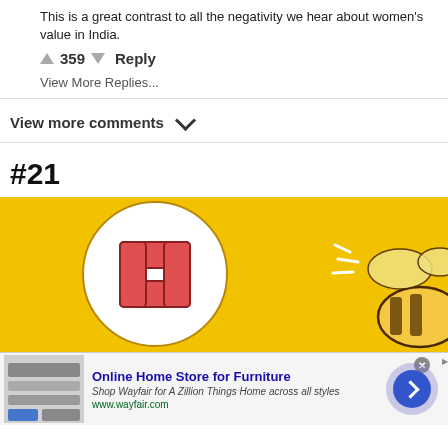This is a great contrast to all the negativity we hear about women's value in India.
359  Reply
View More Replies...
View more comments
#21
[Figure (illustration): Yellow background advertisement image with a medical first-aid cross inside a white circle on the left, and a cartoon bee on the right with motion lines.]
[Figure (screenshot): Advertisement banner for Wayfair Online Home Store for Furniture with furniture image, title, description and a blue circular arrow button.]